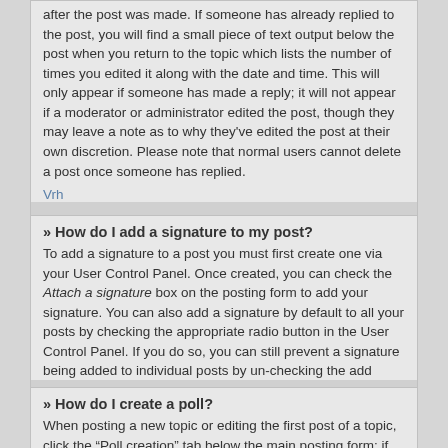after the post was made. If someone has already replied to the post, you will find a small piece of text output below the post when you return to the topic which lists the number of times you edited it along with the date and time. This will only appear if someone has made a reply; it will not appear if a moderator or administrator edited the post, though they may leave a note as to why they've edited the post at their own discretion. Please note that normal users cannot delete a post once someone has replied.
Vrh
» How do I add a signature to my post?
To add a signature to a post you must first create one via your User Control Panel. Once created, you can check the Attach a signature box on the posting form to add your signature. You can also add a signature by default to all your posts by checking the appropriate radio button in the User Control Panel. If you do so, you can still prevent a signature being added to individual posts by un-checking the add signature box within the posting form.
Vrh
» How do I create a poll?
When posting a new topic or editing the first post of a topic, click the “Poll creation” tab below the main posting form; if you cannot see this, you do not have appropriate permissions to create polls. Enter a title and at least two options in the appropriate fields,